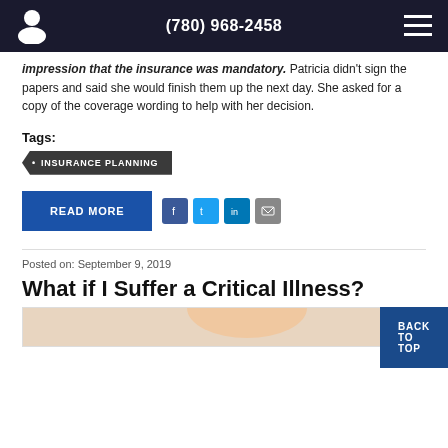(780) 968-2458
impression that the insurance was mandatory. Patricia didn't sign the papers and said she would finish them up the next day. She asked for a copy of the coverage wording to help with her decision.
Tags:
INSURANCE PLANNING
READ MORE
Posted on: September 9, 2019
What if I Suffer a Critical Illness?
[Figure (photo): Partial view of a person, likely related to critical illness article]